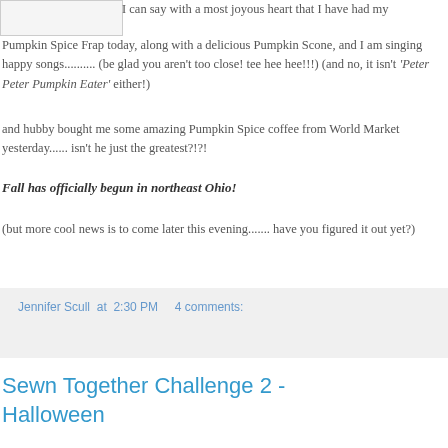[Figure (other): Small placeholder image box (light gray with border)]
I can say with a most joyous heart that I have had my Pumpkin Spice Frap today, along with a delicious Pumpkin Scone, and I am singing happy songs.......... (be glad you aren't too close! tee hee hee!!!) (and no, it isn't 'Peter Peter Pumpkin Eater' either!)
and hubby bought me some amazing Pumpkin Spice coffee from World Market yesterday...... isn't he just the greatest?!?!
Fall has officially begun in northeast Ohio!
(but more cool news is to come later this evening....... have you figured it out yet?)
Jennifer Scull at 2:30 PM   4 comments:
Sewn Together Challenge 2 - Halloween